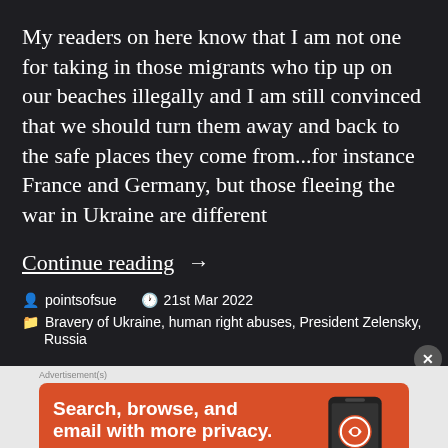My readers on here know that I am not one for taking in those migrants who tip up on our beaches illegally and I am still convinced that we should turn them away and back to the safe places they come from...for instance France and Germany, but those fleeing the war in Ukraine are different
Continue reading  →
pointsofsue   21st Mar 2022
Bravery of Ukraine, human right abuses, President Zelensky, Russia
[Figure (screenshot): DuckDuckGo advertisement banner: orange background with text 'Search, browse, and email with more privacy.' and 'All in One Free App' button, with DuckDuckGo logo and phone graphic on the right]